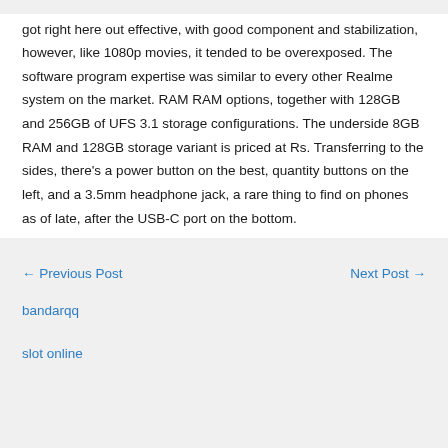got right here out effective, with good component and stabilization, however, like 1080p movies, it tended to be overexposed. The software program expertise was similar to every other Realme system on the market. RAM RAM options, together with 128GB and 256GB of UFS 3.1 storage configurations. The underside 8GB RAM and 128GB storage variant is priced at Rs. Transferring to the sides, there's a power button on the best, quantity buttons on the left, and a 3.5mm headphone jack, a rare thing to find on phones as of late, after the USB-C port on the bottom.
← Previous Post   Next Post →
bandarqq
slot online